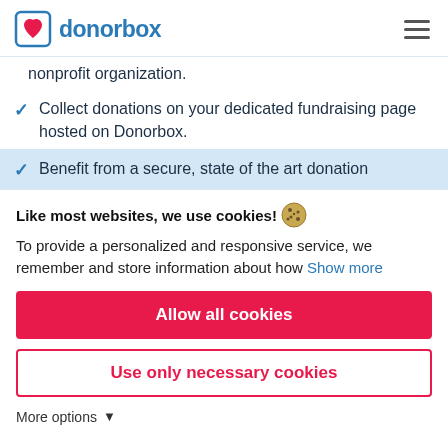donorbox
nonprofit organization.
Collect donations on your dedicated fundraising page hosted on Donorbox.
Benefit from a secure, state of the art donation
Like most websites, we use cookies! 🍪
To provide a personalized and responsive service, we remember and store information about how Show more
Allow all cookies
Use only necessary cookies
More options